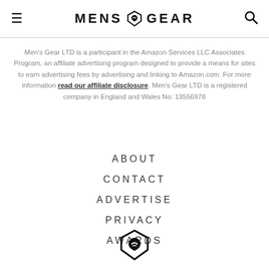MENS GEAR
Men's Gear LTD is a participant in the Amazon Services LLC Associates Program, an affiliate advertising program designed to provide a means for sites to earn advertising fees by advertising and linking to Amazon.com. For more information read our affiliate disclosure. Men's Gear LTD is a registered company in England and Wales No: 13556978
ABOUT
CONTACT
ADVERTISE
PRIVACY
AWARDS
[Figure (logo): Men's Gear shield logo mark at bottom center]